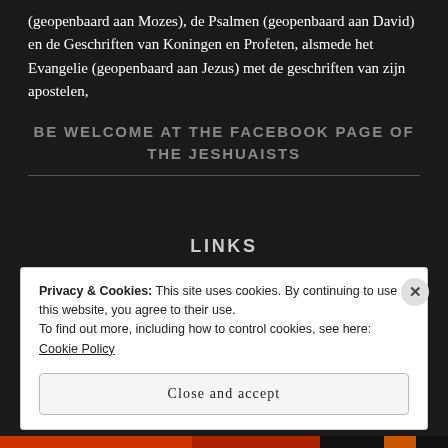(geopenbaard aan Mozes), de Psalmen (geopenbaard aan David) en de Geschriften van Koningen en Profeten, alsmede het Evangelie (geopenbaard aan Jezus) met de geschriften van zijn apostelen,
BE WELCOME AT THE FACEBOOK PAGE OF THE JESHUAISTS
LINKS
Privacy & Cookies: This site uses cookies. By continuing to use this website, you agree to their use.
To find out more, including how to control cookies, see here: Cookie Policy
Close and accept